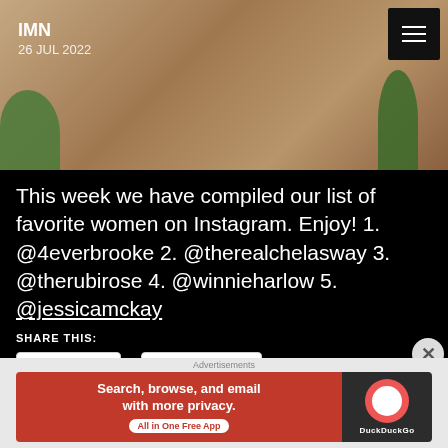[Figure (photo): Photo with IMN label and date 26 JUL 2022, with menu icon top right]
This week we have compiled our list of favorite women on Instagram. Enjoy! 1. @4everbrooke 2. @therealchelasway 3. @therubirose 4. @winnieharlow 5. @jessicamckay
SHARE THIS:
Twitter   Facebook
LIKE THIS:
Loading...
[Figure (screenshot): DuckDuckGo advertisement: Search, browse, and email with more privacy. All in One Free App]